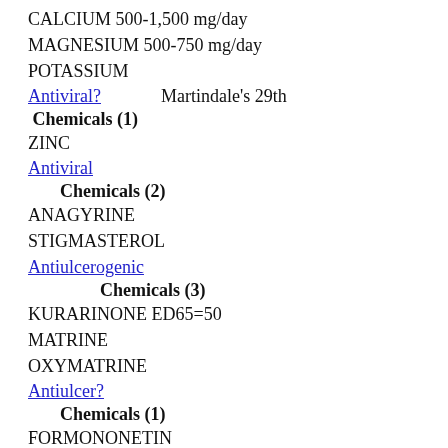CALCIUM 500-1,500 mg/day
MAGNESIUM 500-750 mg/day
POTASSIUM
Antiviral?    Martindale's 29th
Chemicals (1)
ZINC
Antiviral
Chemicals (2)
ANAGYRINE
STIGMASTEROL
Antiulcerogenic
Chemicals (3)
KURARINONE ED65=50
MATRINE
OXYMATRINE
Antiulcer?
Chemicals (1)
FORMONONETIN
Antiulcer    Martindale's 28th